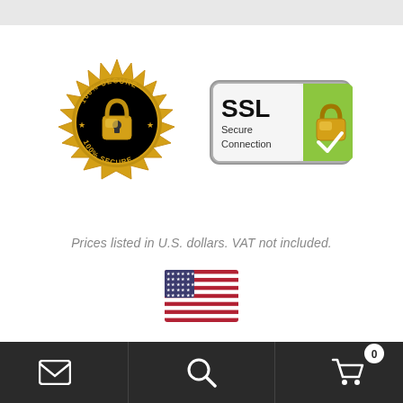[Figure (logo): Gold seal badge with '100% SECURE' text and padlock icon]
[Figure (logo): SSL Secure Connection badge with green panel and gold padlock with checkmark]
Prices listed in U.S. dollars. VAT not included.
[Figure (illustration): United States flag icon]
[Figure (infographic): Bottom navigation bar with email icon, search icon, and shopping cart with 0 badge]